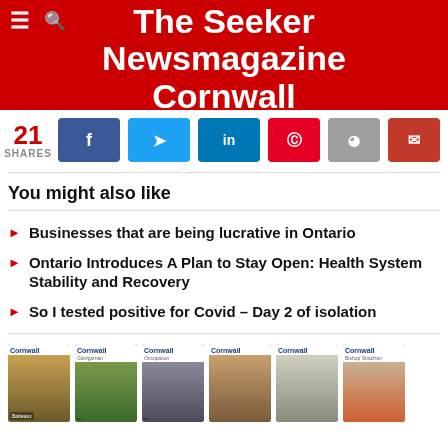The Seeker Newsmagazine Cornwall
21 SHARES
You might also like
Businesses that are being lucrative in Ontario
Ontario Introduces A Plan to Stay Open: Health System Stability and Recovery
So I tested positive for Covid – Day 2 of isolation
[Figure (photo): Six Cornwall historical booklet thumbnails in a horizontal row at the bottom of the page]